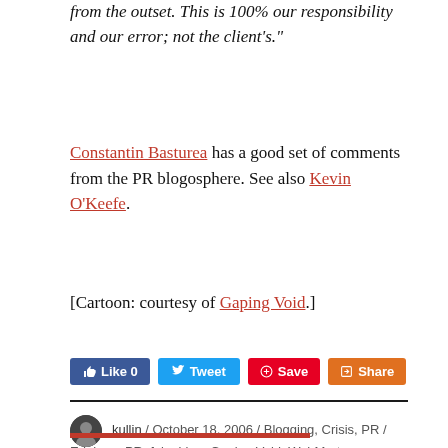from the outset. This is 100% our responsibility and our error; not the client's."
Constantin Basturea has a good set of comments from the PR blogosphere. See also Kevin O'Keefe.
[Cartoon: courtesy of Gaping Void.]
[Figure (other): Social media buttons: Like 0 (Facebook, blue), Tweet (Twitter, blue), Save (Pinterest, red), Share (orange)]
kullin / October 18, 2006 / Blogging, Crisis, PR / Edelman PR, fake blog, Gaping Void, Wal-Mart